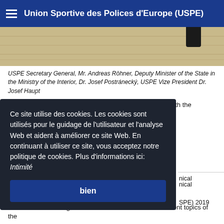Union Sportive des Polices d'Europe (USPE)
[Figure (photo): Photo showing a wooden floor with a dark shoe/boot visible at top right edge of image]
USPE Secretary General, Mr. Andreas Röhner, Deputy Minister of the State in the Ministry of the Interior, Dr. Josef Postránecký, USPE Vize President Dr. Josef Haupt
The matches will start on 9th October 2019 at 09:00 am with the opening match
Ce site utilise des cookies. Les cookies sont utilisés pour le guidage de l'utilisateur et l'analyse Web et aident à améliorer ce site Web. En continuant à utiliser ce site, vous acceptez notre politique de cookies. Plus d'informations ici:  Intimité
bien
nical
SPE) 2019
l Treasurer and
the 8 Technical Delegates of the USPE dealt with the current topics of the